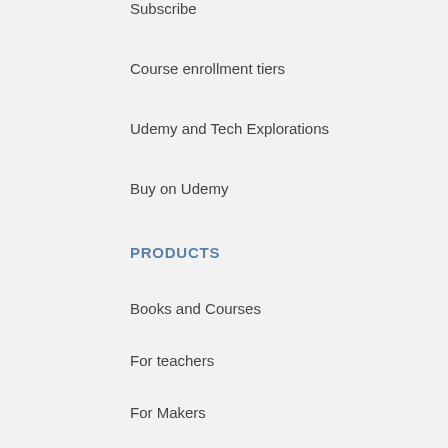Subscribe
Course enrollment tiers
Udemy and Tech Explorations
Buy on Udemy
PRODUCTS
Books and Courses
For teachers
For Makers
Course hardware lists
Raspberry Pi
Arduino